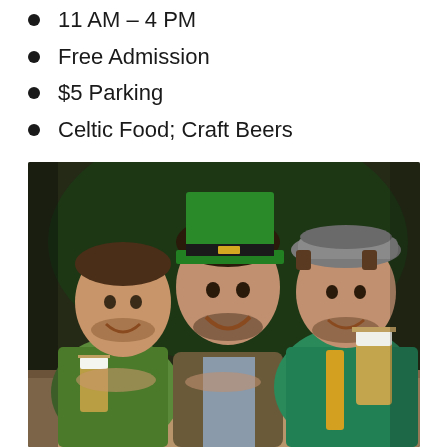11 AM – 4 PM
Free Admission
$5 Parking
Celtic Food; Craft Beers
[Figure (photo): Three smiling men sitting at a bar table holding glasses of beer. The man in the center wears a green leprechaun hat, the man on the left wears a green plaid shirt, and the man on the right wears a green cape and gray cap. The background has green lighting suggesting a St. Patrick's Day celebration.]